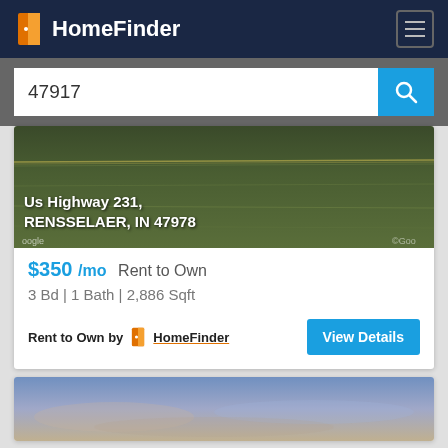HomeFinder
47917
[Figure (photo): Aerial/satellite view of property land – dark green grass/field]
Us Highway 231, RENSSELAER, IN 47978
$350 /mo Rent to Own
3 Bd | 1 Bath | 2,886 Sqft
Rent to Own by HomeFinder
View Details
[Figure (photo): Partial view of second property listing – sky/sunset image]